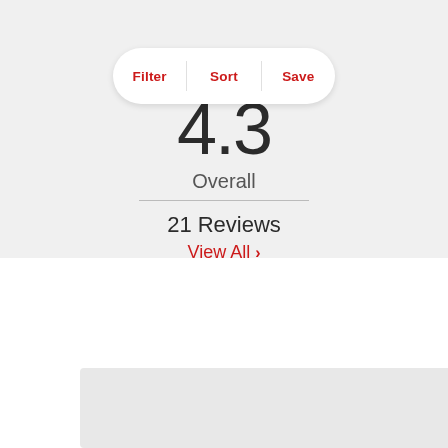Filter | Sort | Save
4.3
Overall
21 Reviews
View All >